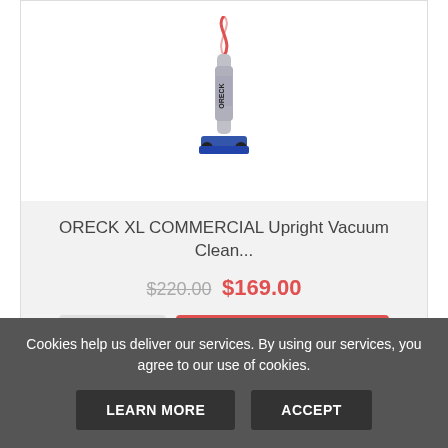[Figure (photo): Oreck XL upright vacuum cleaner product image on white background]
ORECK XL COMMERCIAL Upright Vacuum Clean...
$220.00 $169.00
VIEW  ADD TO CART
BROWSE CATEGORIES
Cookies help us deliver our services. By using our services, you agree to our use of cookies.
LEARN MORE  ACCEPT